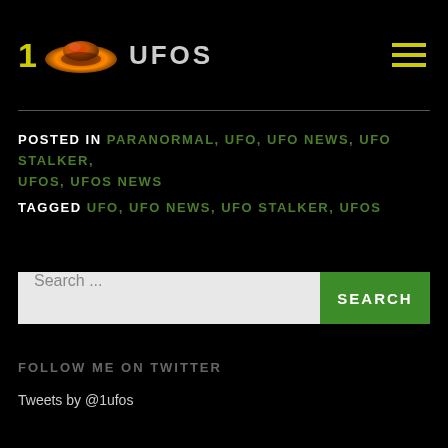1 UFOS
POSTED IN PARANORMAL, UFO, UFO NEWS, UFO STALKER, UFOS, UFOS NEWS
TAGGED UFO, UFO NEWS, UFO STALKER, UFOS
Search ...
FOLLOW ME ON TWITTER
Tweets by @1ufos